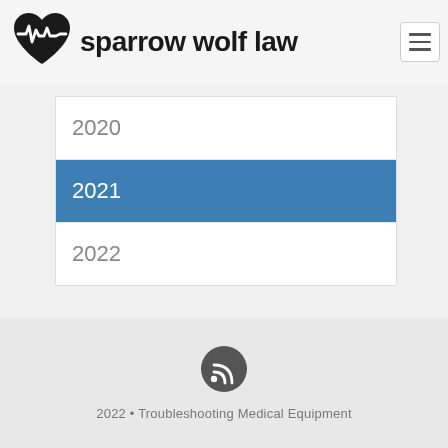[Figure (logo): Sparrow Wolf Law logo: black heart with heartbeat/EKG line, accompanied by cursive text 'sparrow wolf law']
2020
2021
2022
[Figure (illustration): RSS feed icon — circular dark grey button with white RSS signal symbol]
2022  •  Troubleshooting Medical Equipment